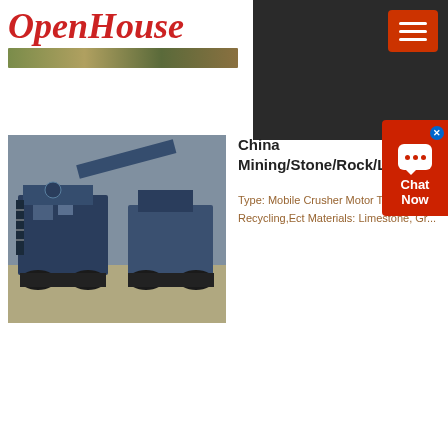[Figure (logo): OpenHouse logo in red italic script font with a banner image below]
[Figure (other): Hamburger menu button (three horizontal lines) on dark background]
[Figure (other): Chat Now widget in red on right side with speech bubble icon and X close button]
[Figure (photo): Photo of blue mobile crusher mining machinery on dirt ground]
China Mining/Stone/Rock/Lim...
Type: Mobile Crusher Motor Type: A... Recycling,Ect Materials: Limestone, Gr...